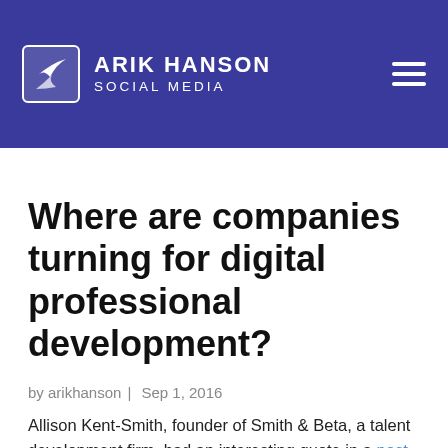ARIK HANSON SOCIAL MEDIA
Where are companies turning for digital professional development?
by arikhanson | Sep 1, 2016
Allison Kent-Smith, founder of Smith & Beta, a talent development firm, had an interesting quote in a post this week: